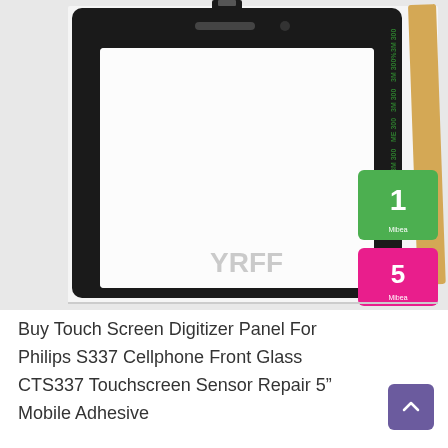[Figure (photo): Product photo showing a black touch screen digitizer panel (front glass) for Philips S337 cellphone, displayed alongside 3M adhesive tape roll and two adhesive pads (numbered 1 and 5, green and pink). Watermark 'YRFF' visible on the glass. White background.]
Buy Touch Screen Digitizer Panel For Philips S337 Cellphone Front Glass CTS337 Touchscreen Sensor Repair 5" Mobile Adhesive